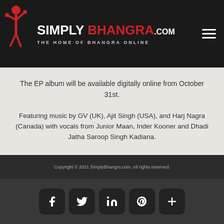[Figure (logo): Simply Bhangra logo with dancer figure, text SIMPLY BHANGRA.COM and tagline THE HOME OF BHANGRA ONLINE on dark background]
The EP album will be available digitally online from October 31st.
Featuring music by GV (UK), Ajit Singh (USA), and Harj Nagra (Canada) with vocals from Junior Maan, Inder Kooner and Dhadi Jatha Saroop Singh Kadiana.
ZULM
Vocals & lyrics by Junior Maan
Copyright © 2021 SimplyBhangra.com. All rights reserved.